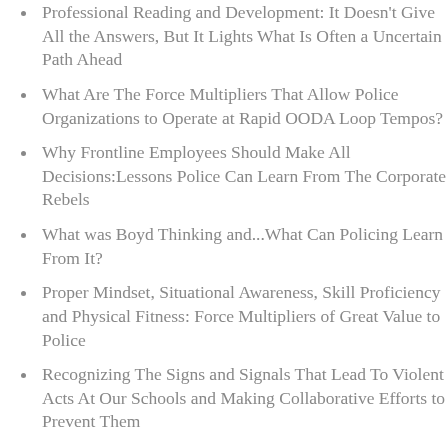Professional Reading and Development: It Doesn't Give All the Answers, But It Lights What Is Often a Uncertain Path Ahead
What Are The Force Multipliers That Allow Police Organizations to Operate at Rapid OODA Loop Tempos?
Why Frontline Employees Should Make All Decisions:Lessons Police Can Learn From The Corporate Rebels
What was Boyd Thinking and...What Can Policing Learn From It?
Proper Mindset, Situational Awareness, Skill Proficiency and Physical Fitness: Force Multipliers of Great Value to Police
Recognizing The Signs and Signals That Lead To Violent Acts At Our Schools and Making Collaborative Efforts to Prevent Them
Adaptive Leader Program: Developing Thinking